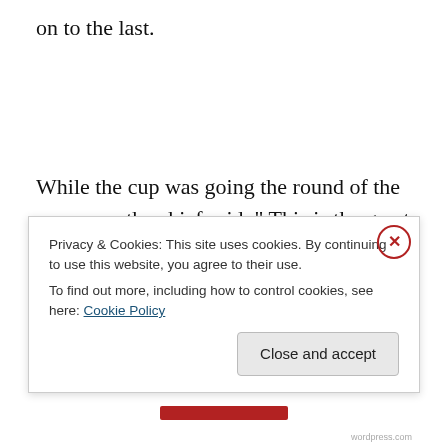on to the last.
While the cup was going the round of the company, the chief said, " This is the great cup that was taken from Fin MacCumhail a hundred years ago; and as much as each man wishes to drink he always gets from it, and no matter how many men there may be, or what they wish for, they
Privacy & Cookies: This site uses cookies. By continuing to use this website, you agree to their use.
To find out more, including how to control cookies, see here: Cookie Policy